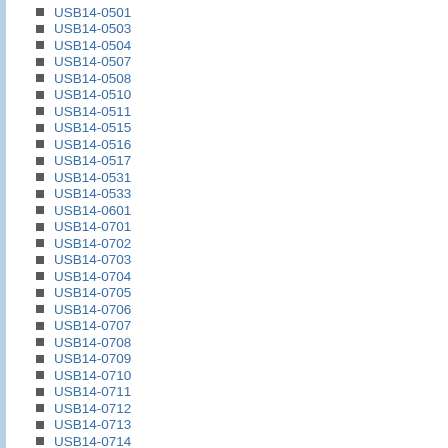USB14-0501
USB14-0503
USB14-0504
USB14-0507
USB14-0508
USB14-0510
USB14-0511
USB14-0515
USB14-0516
USB14-0517
USB14-0531
USB14-0533
USB14-0601
USB14-0701
USB14-0702
USB14-0703
USB14-0704
USB14-0705
USB14-0706
USB14-0707
USB14-0708
USB14-0709
USB14-0710
USB14-0711
USB14-0712
USB14-0713
USB14-0714